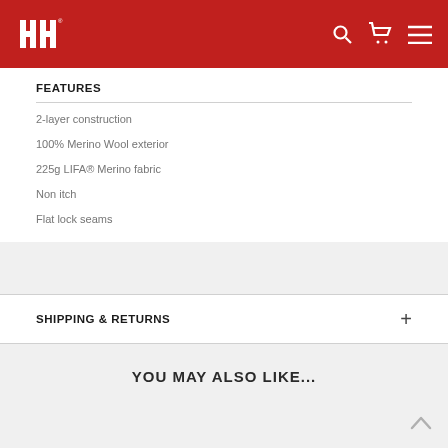HH (Helly Hansen) website header with logo and navigation icons
FEATURES
2-layer construction
100% Merino Wool exterior
225g LIFA® Merino fabric
Non itch
Flat lock seams
SHIPPING & RETURNS
YOU MAY ALSO LIKE...